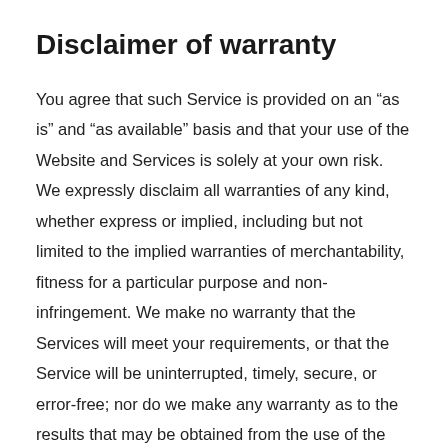Disclaimer of warranty
You agree that such Service is provided on an “as is” and “as available” basis and that your use of the Website and Services is solely at your own risk. We expressly disclaim all warranties of any kind, whether express or implied, including but not limited to the implied warranties of merchantability, fitness for a particular purpose and non-infringement. We make no warranty that the Services will meet your requirements, or that the Service will be uninterrupted, timely, secure, or error-free; nor do we make any warranty as to the results that may be obtained from the use of the Service or as to the accuracy or reliability of any information